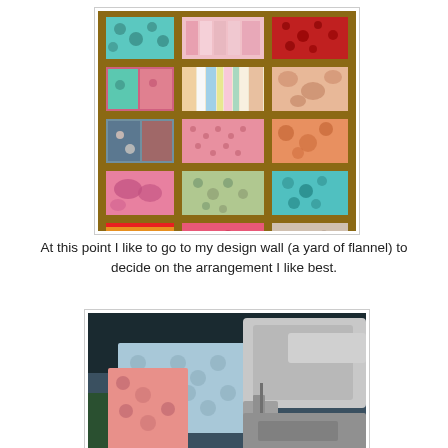[Figure (photo): A design wall (yard of flannel on a brown/tan background) with colorful quilt fabric squares arranged in a 3-column by 5-row grid pattern. The fabrics are various patterns including florals, polka dots, stripes, and geometric prints in pink, teal, blue, red, yellow, and white.]
At this point I like to go to my design wall (a yard of flannel) to decide on the arrangement I like best.
[Figure (photo): Close-up photo of a sewing machine stitching together two pieces of fabric — one with a light blue geometric/floral pattern and one with a pink/coral floral print. The silver metal sewing machine foot and needle area are visible against a dark background.]